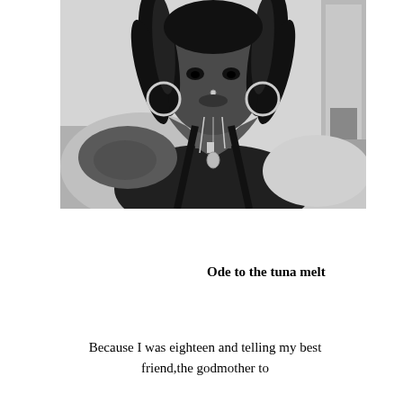[Figure (photo): Black and white portrait photograph of a young woman with twisted/braided hair and hoop earrings, wearing a black halter top and layered necklaces, with tattoos on her shoulder. She is looking slightly upward. A light-colored cardigan is draped over one shoulder.]
Ode to the tuna melt
Because I was eighteen and telling my best friend,the godmother to